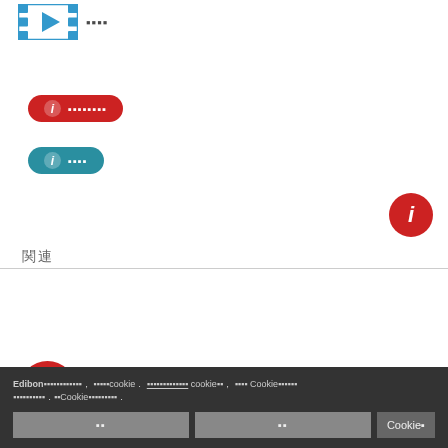[Figure (illustration): Film/video icon with play button and text in Japanese/CJK characters]
[Figure (illustration): Red pill-shaped button with 'i' icon and CJK text]
[Figure (illustration): Teal pill-shaped button with 'i' icon and CJK text]
[Figure (illustration): Red circle info button on right side]
関連
ICAI - Interactive Computer Aided Instruction Software
MSAC - Modular System for Acquisition and Control
Edibon cookie banner with CJK text and cookie policy notice
Cookie buttons: 同意 / 拒否 / Cookie設定